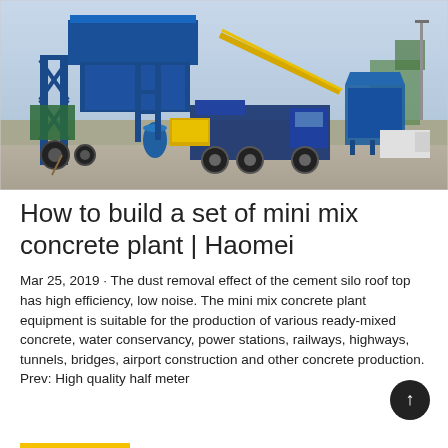[Figure (photo): Outdoor industrial scene showing a blue mini mix concrete batching plant with a conveyor belt, yellow generator, blue dump truck, and a separate blue aggregate bin on the right, parked on a concrete yard with trees and overcast sky in the background.]
How to build a set of mini mix concrete plant | Haomei
Mar 25, 2019 · The dust removal effect of the cement silo roof top has high efficiency, low noise. The mini mix concrete plant equipment is suitable for the production of various ready-mixed concrete, water conservancy, power stations, railways, highways, tunnels, bridges, airport construction and other concrete production. Prev: High quality half meter